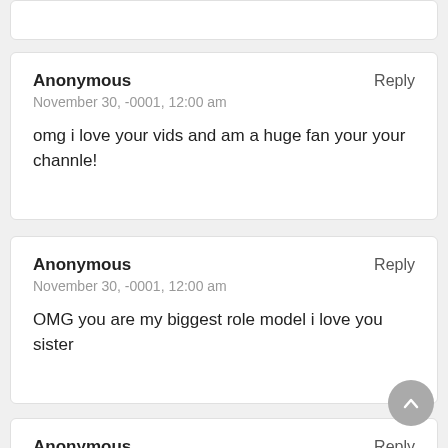Anonymous  Reply
November 30, -0001, 12:00 am
omg i love your vids and am a huge fan your your channle!
Anonymous  Reply
November 30, -0001, 12:00 am
OMG you are my biggest role model i love you sister
Anonymous  Reply
November 30, -0001, 12:00 am